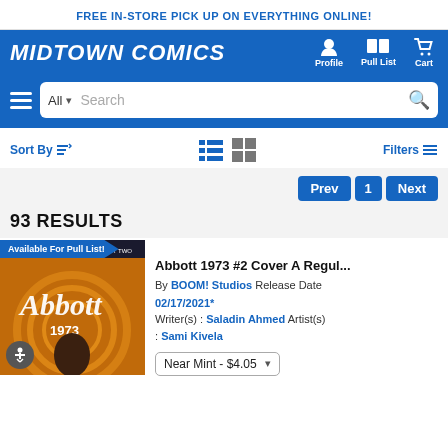FREE IN-STORE PICK UP ON EVERYTHING ONLINE!
[Figure (logo): Midtown Comics logo in white italic bold text on blue background with Profile, Pull List, and Cart navigation icons]
[Figure (screenshot): Search bar with All dropdown and Search placeholder text and magnifying glass icon]
Sort By | View toggle icons | Filters
Prev 1 Next
93 RESULTS
Available For Pull List!
[Figure (photo): Abbott 1973 #2 comic book cover showing orange and brown artwork with stylized text]
Abbott 1973 #2 Cover A Regul...
By BOOM! Studios Release Date 02/17/2021*
Writer(s) : Saladin Ahmed Artist(s) : Sami Kivela
Near Mint - $4.05